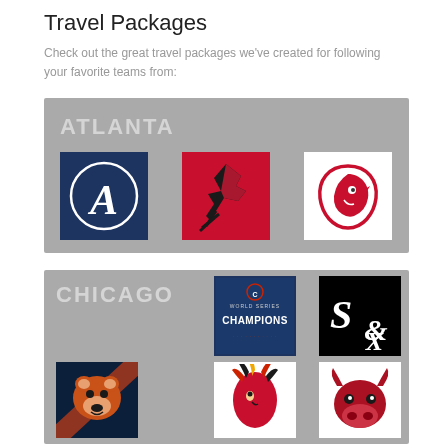Travel Packages
Check out the great travel packages we've created for following your favorite teams from:
[Figure (infographic): Atlanta travel package box with gray background showing ATLANTA text and logos for Atlanta Braves (navy A in circle), Atlanta Falcons (red/black falcon), and Atlanta Hawks (red hawk)]
[Figure (infographic): Chicago travel package box with gray background showing CHICAGO text and logos for Chicago Cubs World Series Champions, Chicago White Sox (black S&W logo), Chicago Bears (orange bear head), Chicago Blackhawks (native head), and Chicago Bulls (red bull)]